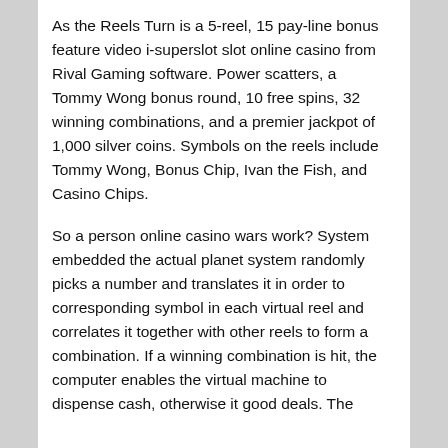As the Reels Turn is a 5-reel, 15 pay-line bonus feature video i-superslot slot online casino from Rival Gaming software. Power scatters, a Tommy Wong bonus round, 10 free spins, 32 winning combinations, and a premier jackpot of 1,000 silver coins. Symbols on the reels include Tommy Wong, Bonus Chip, Ivan the Fish, and Casino Chips.
So a person online casino wars work? System embedded the actual planet system randomly picks a number and translates it in order to corresponding symbol in each virtual reel and correlates it together with other reels to form a combination. If a winning combination is hit, the computer enables the virtual machine to dispense cash, otherwise it good deals. The